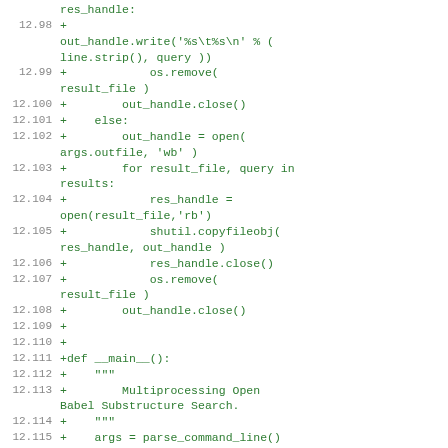[Figure (screenshot): Code diff snippet showing Python source lines 12.98 through 12.116, with green added lines including file handling, multiprocessing, and main function definition.]